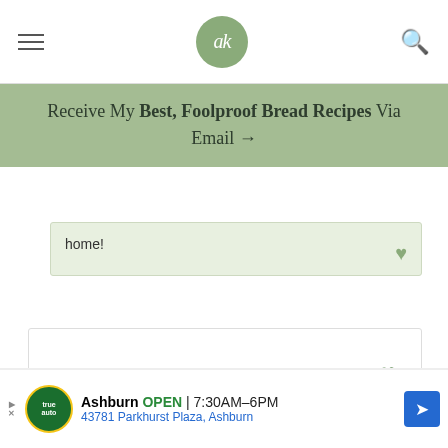ak
Receive My Best, Foolproof Bread Recipes Via Email →
home!
« PREVIOUS  1  2
3,312
[Figure (screenshot): Advertisement for Ashburn Auto service showing logo, OPEN status, hours 7:30AM-6PM, and address 43781 Parkhurst Plaza, Ashburn]